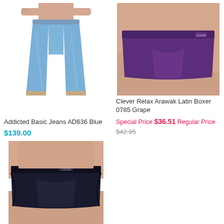[Figure (photo): Man wearing light blue slim fit jeans, Addicted Basic Jeans AD636 Blue]
Addicted Basic Jeans AD636 Blue
$139.00
[Figure (photo): Man wearing purple boxer briefs, Clever Relax Arawak Latin Boxer 0785 Grape]
Clever Relax Arawak Latin Boxer 0785 Grape
Special Price $36.51 Regular Price $42.95
[Figure (photo): Man wearing dark navy/black brief underwear]